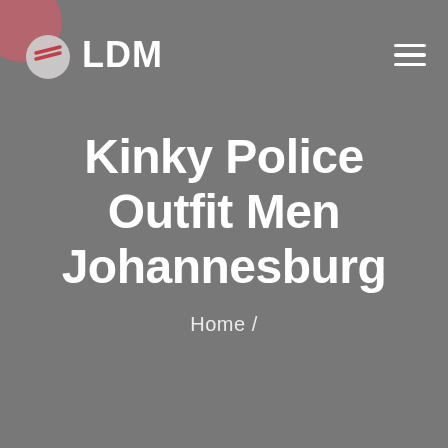LDM
Kinky Police Outfit Men Johannesburg
Home /